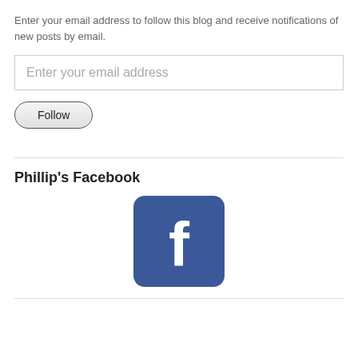Enter your email address to follow this blog and receive notifications of new posts by email.
[Figure (screenshot): Email input field placeholder text reading 'Enter your email address']
[Figure (screenshot): Follow button with rounded pill shape and dark border]
Phillip's Facebook
[Figure (logo): Facebook logo icon — blue rounded square with white lowercase 'f']
[Figure (screenshot): Horizontal divider line at the bottom]